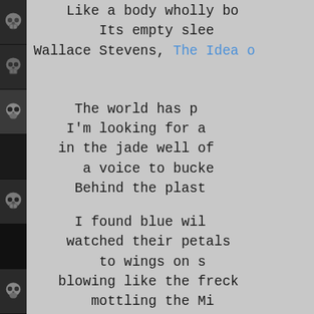[Figure (photo): Vertical strip of black and white photos of skulls arranged along the left margin]
Like a body wholly bo
Its empty slee
Wallace Stevens, The Idea o
The world has p
I'm looking for a
in the jade well of
a voice to bucke
Behind the plast

I found blue wil
watched their petals
to wings on s
blowing like the freck
mottling the Mi
to daisy-face another